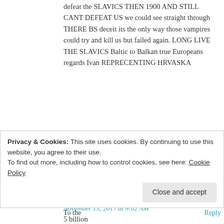defeat the SLAVICS THEN 1900 AND STILL CANT DEFEAT US we could see straight through THERE BS deceit its the only way those vampires could try and kill us but failed again. LONG LIVE THE SLAVICS Baltic to Balkan true Europeans regards Ivan REPRECENTING HRVASKA
★ Like
Stan Zorin says:
Reply
November 15, 2017 at 9:02 AM
5 billion
★ Like
Privacy & Cookies: This site uses cookies. By continuing to use this website, you agree to their use.
To find out more, including how to control cookies, see here: Cookie Policy
Close and accept
Reply